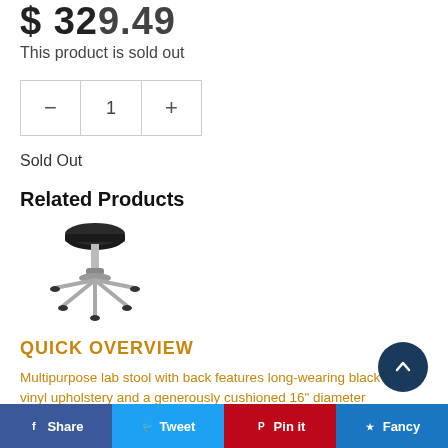$ 329.49
This product is sold out
Sold Out
Related Products
[Figure (illustration): A black padded round stool with chrome base and five caster wheels]
QUICK OVERVIEW
Multipurpose lab stool with back features long-wearing black vinyl upholstery and a generously cushioned 16" diameter seat that is 3-1/2" thick. Covered in antimicrobial treated vinyl. Stool holds 250 lb. Seat height adjusts pneumatically 5"...
Share  Tweet  Pin it  Fancy